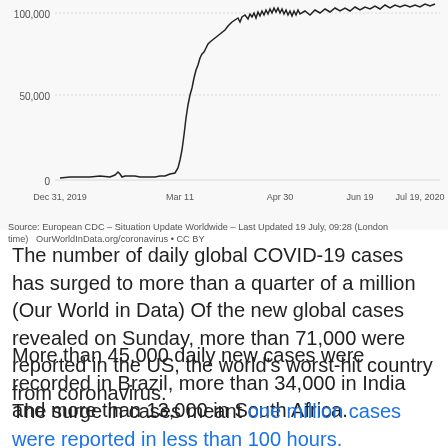[Figure (continuous-plot): Line chart showing daily new confirmed COVID-19 cases globally from Dec 31, 2019 to Jul 19, 2020. The y-axis shows values from 0 to 100,000. The line stays near zero until around March 2020, then rises sharply, reaching approximately 100,000 by July 2020 with high volatility at the top.]
Source: European CDC – Situation Update Worldwide – Last Updated 19 July, 09:28 (London time)   OurWorldInData.org/coronavirus • CC BY
The number of daily global COVID-19 cases has surged to more than a quarter of a million (Our World in Data) Of the new global cases revealed on Sunday, more than 71,000 were reported in the US, the world's worst-hit country from coronavirus.
More than 45,000 daily new cases were recorded in Brazil, more than 34,000 in India and more than 13,000 in South Africa.
The surge in cases meant one million cases were reported in less than 100 hours.
According to Johns Hopkins University, there have been